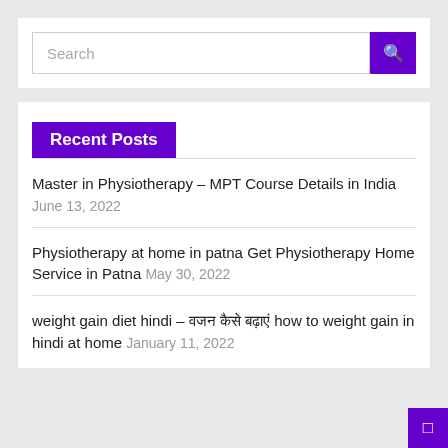Search
Recent Posts
Master in Physiotherapy – MPT Course Details in India June 13, 2022
Physiotherapy at home in patna Get Physiotherapy Home Service in Patna May 30, 2022
weight gain diet hindi – वजन कैसे बढ़ाएं how to weight gain in hindi at home January 11, 2022